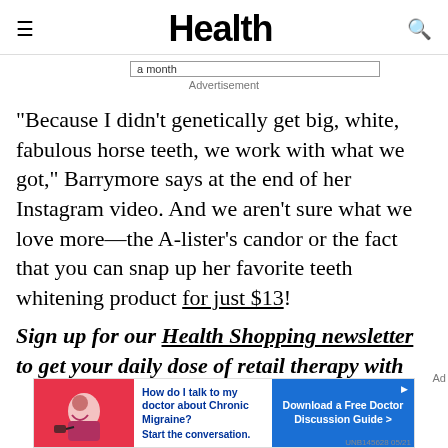Health
a month
Advertisement
"Because I didn't genetically get big, white, fabulous horse teeth, we work with what we got," Barrymore says at the end of her Instagram video. And we aren't sure what we love more—the A-lister's candor or the fact that you can snap up her favorite teeth whitening product for just $13!
Sign up for our Health Shopping newsletter to get your daily dose of retail therapy with
[Figure (infographic): Bottom advertisement banner with illustration of woman on left (red background), text in middle asking 'How do I talk to my doctor about Chronic Migraine? Start the conversation.' and a blue button on right saying 'Download a Free Doctor Discussion Guide >' with UNB145628 05/21 identifier]